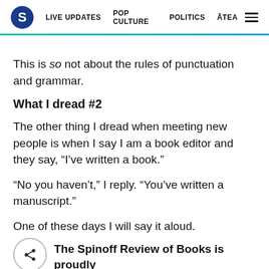S  LIVE UPDATES  POP CULTURE  POLITICS  ĀTEA
This is so not about the rules of punctuation and grammar.
What I dread #2
The other thing I dread when meeting new people is when I say I am a book editor and they say, “I’ve written a book.”
“No you haven’t,” I reply. “You’ve written a manuscript.”
One of these days I will say it aloud.
The Spinoff Review of Books is proudly brought to you by Unity Books, recently named